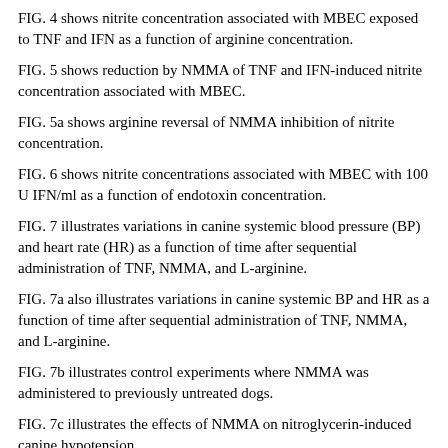FIG. 4 shows nitrite concentration associated with MBEC exposed to TNF and IFN as a function of arginine concentration.
FIG. 5 shows reduction by NMMA of TNF and IFN-induced nitrite concentration associated with MBEC.
FIG. 5a shows arginine reversal of NMMA inhibition of nitrite concentration.
FIG. 6 shows nitrite concentrations associated with MBEC with 100 U IFN/ml as a function of endotoxin concentration.
FIG. 7 illustrates variations in canine systemic blood pressure (BP) and heart rate (HR) as a function of time after sequential administration of TNF, NMMA, and L-arginine.
FIG. 7a also illustrates variations in canine systemic BP and HR as a function of time after sequential administration of TNF, NMMA, and L-arginine.
FIG. 7b illustrates control experiments where NMMA was administered to previously untreated dogs.
FIG. 7c illustrates the effects of NMMA on nitroglycerin-induced canine hypotension.